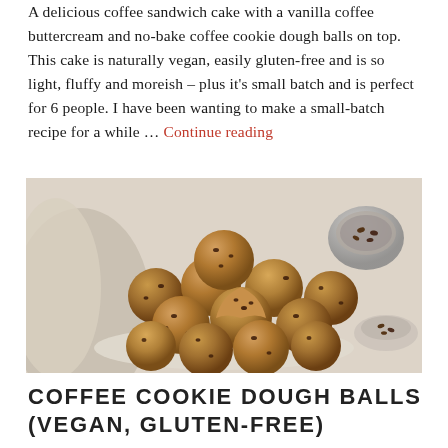A delicious coffee sandwich cake with a vanilla coffee buttercream and no-bake coffee cookie dough balls on top. This cake is naturally vegan, easily gluten-free and is so light, fluffy and moreish – plus it's small batch and is perfect for 6 people. I have been wanting to make a small-batch recipe for a while … Continue reading
[Figure (photo): A pyramid stack of round no-bake coffee cookie dough balls with chocolate chips, some showing a bitten cross-section, on parchment paper with a linen cloth and small bowls in the background.]
COFFEE COOKIE DOUGH BALLS (VEGAN, GLUTEN-FREE)